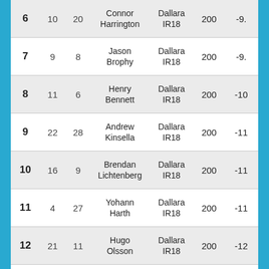| Pos | No. | Grid | Driver | Car | Laps | Gap |
| --- | --- | --- | --- | --- | --- | --- |
| 6 | 10 | 20 | Connor Harrington | Dallara IR18 | 200 | -9. |
| 7 | 9 | 8 | Jason Brophy | Dallara IR18 | 200 | -9. |
| 8 | 11 | 6 | Henry Bennett | Dallara IR18 | 200 | -10 |
| 9 | 22 | 28 | Andrew Kinsella | Dallara IR18 | 200 | -11 |
| 10 | 16 | 9 | Brendan Lichtenberg | Dallara IR18 | 200 | -11 |
| 11 | 4 | 27 | Yohann Harth | Dallara IR18 | 200 | -11 |
| 12 | 21 | 11 | Hugo Olsson | Dallara IR18 | 200 | -12 |
| 13 |  |  | Jesper | Dallara |  |  |